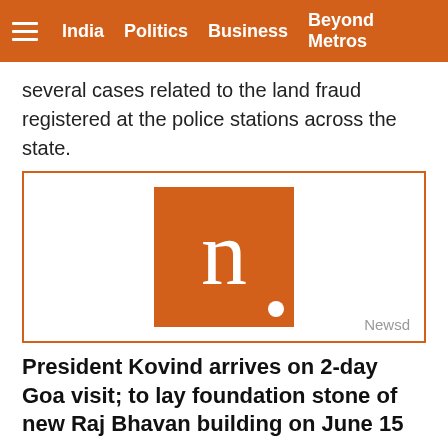India   Politics   Business   Beyond Metros
several cases related to the land fraud registered at the police stations across the state.
[Figure (logo): Newsd logo: orange square with white letter n and white dot, with 'Newsd' text in bottom right corner]
President Kovind arrives on 2-day Goa visit; to lay foundation stone of new Raj Bhavan building on June 15
From the airport, Kovind went to the Raj Bhavan at Dona